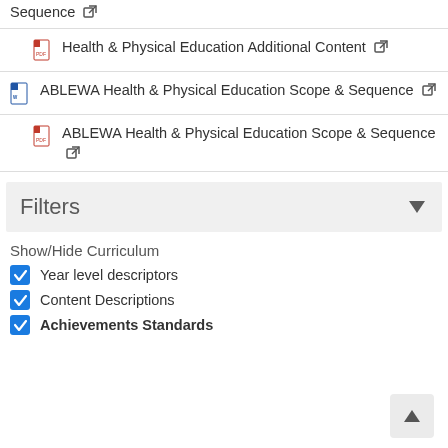Sequence ↗
Health & Physical Education Additional Content ↗
ABLEWA Health & Physical Education Scope & Sequence ↗
ABLEWA Health & Physical Education Scope & Sequence ↗
Filters
Show/Hide Curriculum
Year level descriptors
Content Descriptions
Achievements Standards